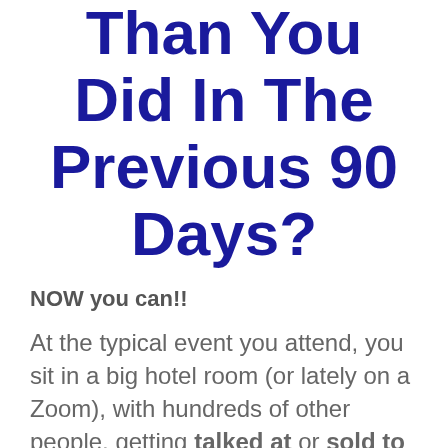Than You Did In The Previous 90 Days?
NOW you can!!
At the typical event you attend, you sit in a big hotel room (or lately on a Zoom), with hundreds of other people, getting talked at or sold to over and over again